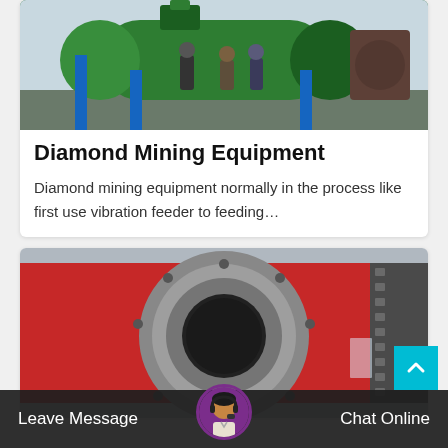[Figure (photo): Industrial mining equipment - large green cylindrical ball mill with workers standing beside it in a factory/outdoor setting with blue structural supports]
Diamond Mining Equipment
Diamond mining equipment normally in the process like first use vibration feeder to feeding…
[Figure (photo): Close-up front view of a large red ball mill showing the circular opening/drum end with bolted flange, silver metallic interior, and gear teeth visible on the right side]
Leave Message   Chat Online